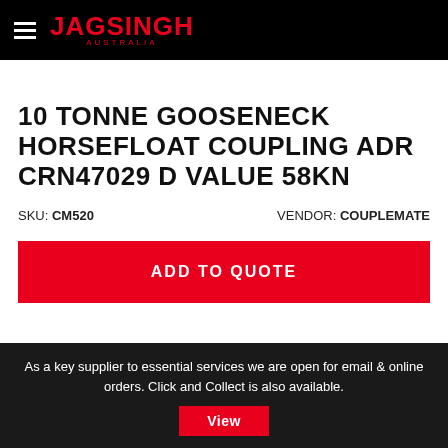JAGSINGH AUSTRALIA
10 TONNE GOOSENECK HORSEFLOAT COUPLING ADR CRN47029 D VALUE 58KN
SKU: CM520   VENDOR: COUPLEMATE
ADD TO QUOTE
As a key supplier to essential services we are open for email & online orders. Click and Collect is also available. View